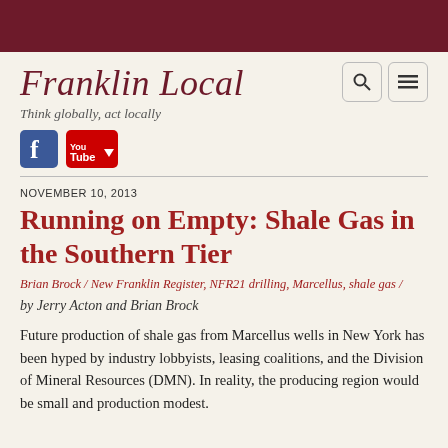[Figure (other): Dark red/maroon banner bar at top of page]
Franklin Local
Think globally, act locally
[Figure (logo): Facebook and YouTube social media icons]
NOVEMBER 10, 2013
Running on Empty: Shale Gas in the Southern Tier
Brian Brock / New Franklin Register, NFR21 drilling, Marcellus, shale gas /
by Jerry Acton and Brian Brock
Future production of shale gas from Marcellus wells in New York has been hyped by industry lobbyists, leasing coalitions, and the Division of Mineral Resources (DMN). In reality, the producing region would be small and production modest.